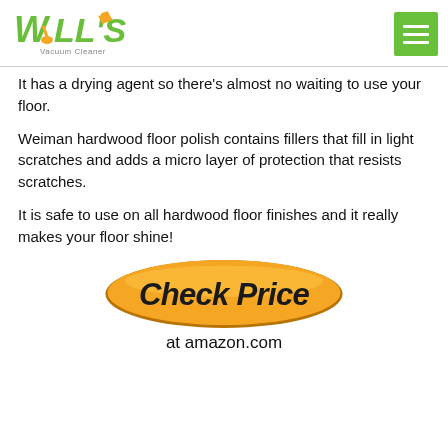[Figure (logo): Will's Vacuum Cleaner logo with green stylized text and orange vacuum cleaner icon]
[Figure (other): Green hamburger menu icon button in top right corner]
It has a drying agent so there’s almost no waiting to use your floor.
Weiman hardwood floor polish contains fillers that fill in light scratches and adds a micro layer of protection that resists scratches.
It is safe to use on all hardwood floor finishes and it really makes your floor shine!
[Figure (other): Orange oval button with bold italic black text reading 'Check Price' and text below reading 'at amazon.com']